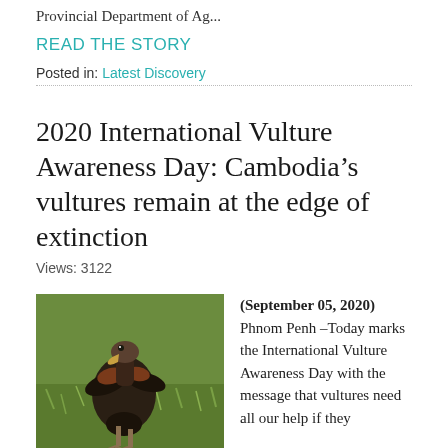Provincial Department of Ag...
READ THE STORY
Posted in: Latest Discovery
2020 International Vulture Awareness Day: Cambodia’s vultures remain at the edge of extinction
Views: 3122
[Figure (photo): A dark vulture bird standing on green grass, viewed from the side, with spread feathers]
(September 05, 2020) Phnom Penh –Today marks the International Vulture Awareness Day with the message that vultures need all our help if they